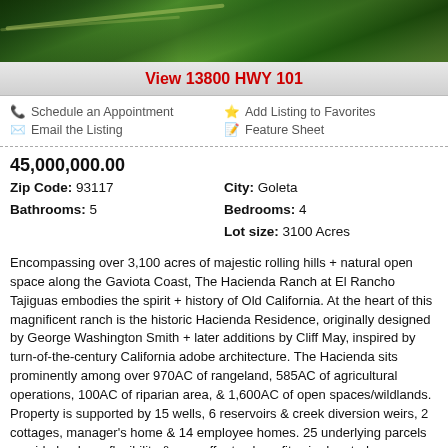[Figure (photo): Aerial photo of coastal California landscape with hills and a road]
View 13800 HWY 101
Schedule an Appointment | Email the Listing | Add Listing to Favorites | Feature Sheet
45,000,000.00
City: Goleta
Zip Code: 93117
Bedrooms: 4
Bathrooms: 5
Lot size: 3100 Acres
Encompassing over 3,100 acres of majestic rolling hills + natural open space along the Gaviota Coast, The Hacienda Ranch at El Rancho Tajiguas embodies the spirit + history of Old California. At the heart of this magnificent ranch is the historic Hacienda Residence, originally designed by George Washington Smith + later additions by Cliff May, inspired by turn-of-the-century California adobe architecture. The Hacienda sits prominently among over 970AC of rangeland, 585AC of agricultural operations, 100AC of riparian area, & 1,600AC of open spaces/wildlands. Property is supported by 15 wells, 6 reservoirs & creek diversion weirs, 2 cottages, manager's home & 14 employee homes. 25 underlying parcels provide land use flexibility & may offer tax benefits via donated conservation easements.
[Figure (photo): Bottom banner photo of coastal/tropical scene with Sale ribbon badge]